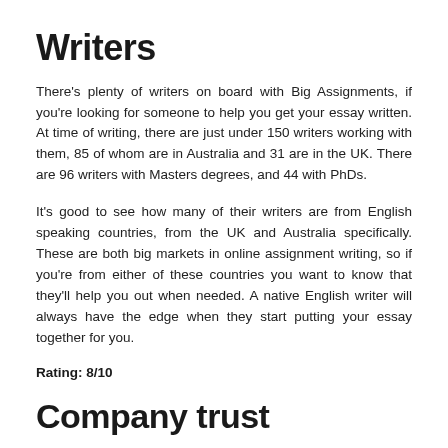Writers
There's plenty of writers on board with Big Assignments, if you're looking for someone to help you get your essay written. At time of writing, there are just under 150 writers working with them, 85 of whom are in Australia and 31 are in the UK. There are 96 writers with Masters degrees, and 44 with PhDs.
It's good to see how many of their writers are from English speaking countries, from the UK and Australia specifically. These are both big markets in online assignment writing, so if you're from either of these countries you want to know that they'll help you out when needed. A native English writer will always have the edge when they start putting your essay together for you.
Rating: 8/10
Company trust